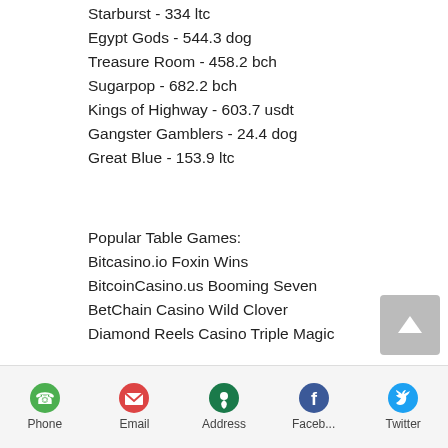Starburst - 334 ltc
Egypt Gods - 544.3 dog
Treasure Room - 458.2 bch
Sugarpop - 682.2 bch
Kings of Highway - 603.7 usdt
Gangster Gamblers - 24.4 dog
Great Blue - 153.9 ltc
Popular Table Games:
Bitcasino.io Foxin Wins
BitcoinCasino.us Booming Seven
BetChain Casino Wild Clover
Diamond Reels Casino Triple Magic
https://www.vivendusinmuebles.com/profile/veolabaskett19221618/profile
https://www.gabrielaserranosoto.com/profile/lavonedolinger2039088/profile
Phone  Email  Address  Faceb...  Twitter